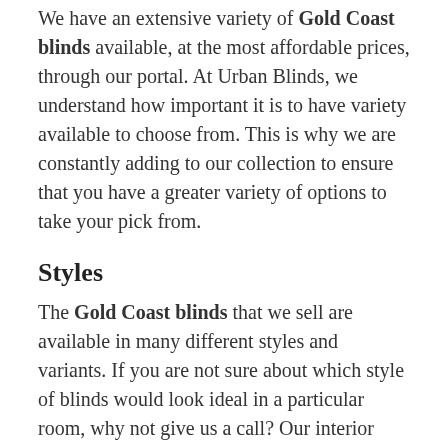We have an extensive variety of Gold Coast blinds available, at the most affordable prices, through our portal. At Urban Blinds, we understand how important it is to have variety available to choose from. This is why we are constantly adding to our collection to ensure that you have a greater variety of options to take your pick from.
Styles
The Gold Coast blinds that we sell are available in many different styles and variants. If you are not sure about which style of blinds would look ideal in a particular room, why not give us a call? Our interior designers are always happy to offer advice to customers so that they are able to make an informed decision.